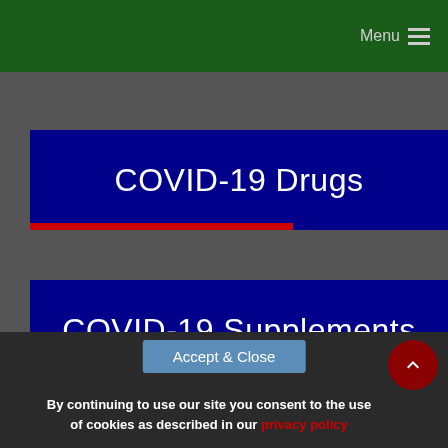Menu
COVID-19 Drugs
COVID-19 Supplements
COVID-19 Herbs
COVID-19 Disinfectants
COVID-19 Mutations
By continuing to use our site you consent to the use of cookies as described in our privacy policy